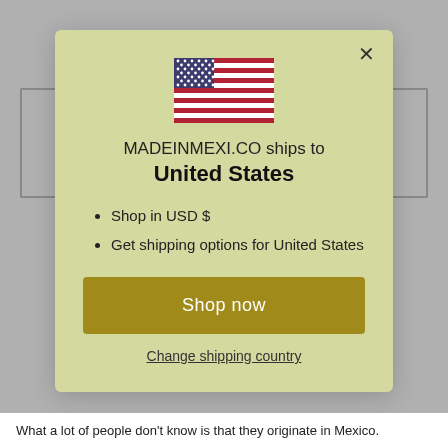[Figure (illustration): US flag SVG icon centered in modal]
MADEINMEXI.CO ships to
United States
Shop in USD $
Get shipping options for United States
Shop now
Change shipping country
What a lot of people don't know is that they originate in Mexico.